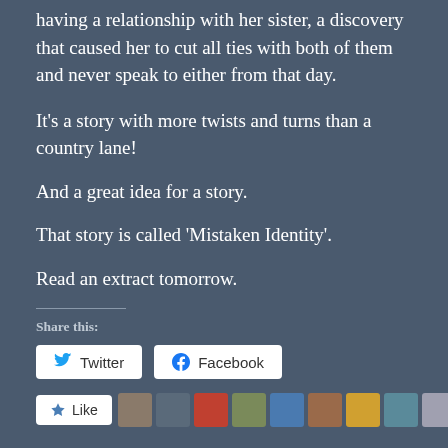having a relationship with her sister, a discovery that caused her to cut all ties with both of them and never speak to either from that day.
It's a story with more twists and turns than a country lane!
And a great idea for a story.
That story is called 'Mistaken Identity'.
Read an extract tomorrow.
Share this:
[Figure (screenshot): Twitter and Facebook share buttons, and a Like button with avatars below]